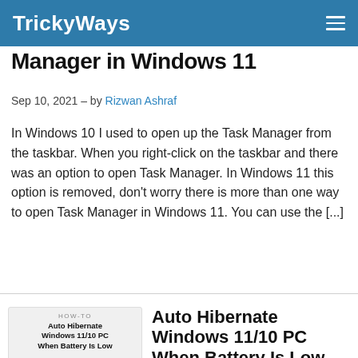TrickyWays
Manager in Windows 11
Sep 10, 2021 – by Rizwan Ashraf
In Windows 10 I used to open up the Task Manager from the taskbar. When you right-click on the taskbar and there was an option to open Task Manager. In Windows 11 this option is removed, don't worry there is more than one way to open Task Manager in Windows 11. You can use the [...]
[Figure (screenshot): Thumbnail for Auto Hibernate Windows 11/10 PC When Battery Is Low article, showing laptop icon with arrow pointing to clock icon]
Auto Hibernate Windows 11/10 PC When Battery Is Low
Sep 8, 2021 – by Rizwan